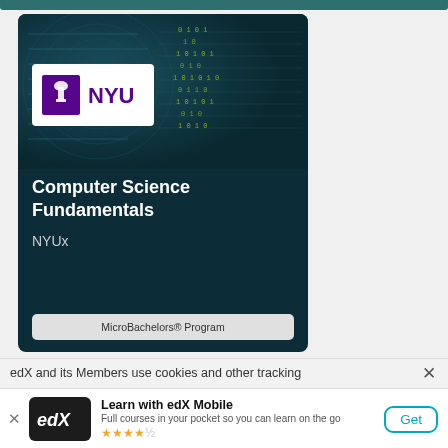[Figure (screenshot): edX course card for Computer Science Fundamentals by NYUx on a dark teal background with circuit board and binary code pattern, featuring the NYU logo]
Computer Science Fundamentals
NYUx
MicroBachelors® Program
edX and its Members use cookies and other tracking
Learn with edX Mobile
Full courses in your pocket so you can learn on the go
★★★★½
Get